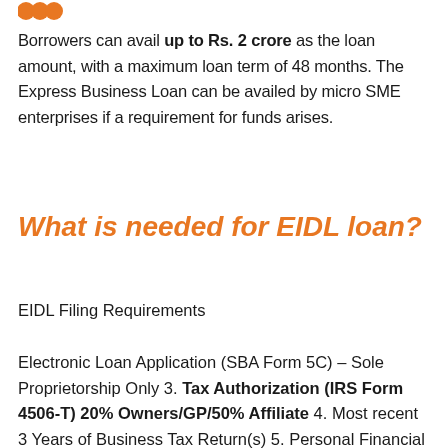[Figure (logo): Orange icon/logo at top left]
Borrowers can avail up to Rs. 2 crore as the loan amount, with a maximum loan term of 48 months. The Express Business Loan can be availed by micro SME enterprises if a requirement for funds arises.
What is needed for EIDL loan?
EIDL Filing Requirements
Electronic Loan Application (SBA Form 5C) – Sole Proprietorship Only 3. Tax Authorization (IRS Form 4506-T) 20% Owners/GP/50% Affiliate 4. Most recent 3 Years of Business Tax Return(s) 5. Personal Financial Statement (SBA Form 413) 20% Owners/GP 6.